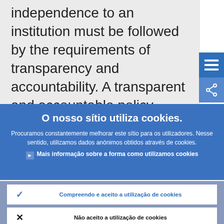independence to an institution must be followed by the requirements of transparency and accountability. A transparent and accountable policy desig…
O nosso sítio utiliza cookies.
Procuramos constantemente melhorar este sítio para os utilizadores. Nesse sentido, utilizamos dados anónimos obtidos através de cookies.
Mais informação sobre a forma como utilizamos cookies
Compreendo e aceito a utilização de cookies
Não aceito a utilização de cookies